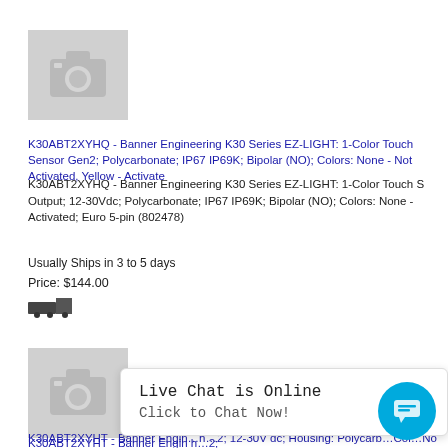[Figure (photo): Placeholder product image (camera icon) for K30ABT2XYHQ]
K30ABT2XYHQ - Banner Engineering K30 Series EZ-LIGHT: 1-Color Touch Sensor Gen2; Polycarbonate; IP67 IP69K; Bipolar (NO); Colors: None - Not Activated, Yellow - Activated
K30ABT2XYHQ - Banner Engineering K30 Series EZ-LIGHT: 1-Color Touch Sensor Output; 12-30Vdc; Polycarbonate; IP67 IP69K; Bipolar (NO); Colors: None - Not Activated; Euro 5-pin (802478)
Usually Ships in 3 to 5 days
Price: $144.00
[Figure (photo): Placeholder product image (camera icon) for K30ABT2XYHT]
K30ABT2XYHT - Banner Engineering K30 Series EZ-LIGHT: 1-Color Touch Sensor; 12-30V dc; Housing: Polycarbonate; Colors: None - Not Activated; 5-screw Terminal Wiring